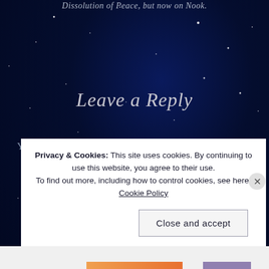Dissolution of Peace, but now on Nook.
Leave a Reply
Your email address will not be published. Required fields are marked *
Privacy & Cookies: This site uses cookies. By continuing to use this website, you agree to their use. To find out more, including how to control cookies, see here: Cookie Policy
Close and accept